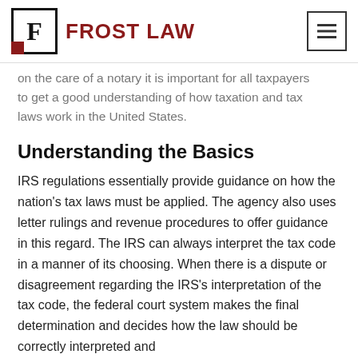FROST LAW
on the care of a notary it is important for all taxpayers to get a good understanding of how taxation and tax laws work in the United States.
Understanding the Basics
IRS regulations essentially provide guidance on how the nation's tax laws must be applied. The agency also uses letter rulings and revenue procedures to offer guidance in this regard. The IRS can always interpret the tax code in a manner of its choosing. When there is a dispute or disagreement regarding the IRS's interpretation of the tax code, the federal court system makes the final determination and decides how the law should be correctly interpreted and